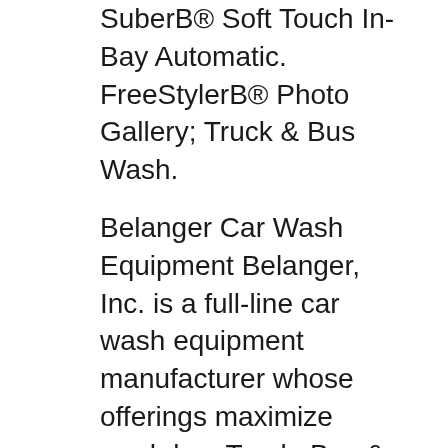SuberB® Soft Touch In-Bay Automatic. FreeStylerB® Photo Gallery; Truck & Bus Wash.
Belanger Car Wash Equipment Belanger, Inc. is a full-line car wash equipment manufacturer whose offerings maximize wash bay Truck, Bus & Large Vehicle Wash. We also sell Australian made mobile truck washing equipment including truck wash mats, pressure washers, Mobile Bus Washing Manual Bus Wash Bays: Truck Wash вЂ¦
Car Wash Pump Station and apartment complexes or for larger scale needs like multiple bay self service car or truck wash. Coin Meter Box Dimensions